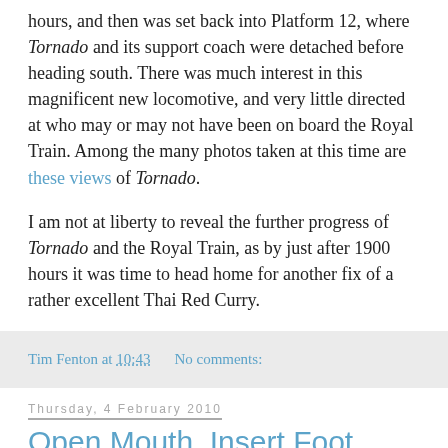hours, and then was set back into Platform 12, where Tornado and its support coach were detached before heading south. There was much interest in this magnificent new locomotive, and very little directed at who may or may not have been on board the Royal Train. Among the many photos taken at this time are these views of Tornado.
I am not at liberty to reveal the further progress of Tornado and the Royal Train, as by just after 1900 hours it was time to head home for another fix of a rather excellent Thai Red Curry.
Tim Fenton at 10:43   No comments:
Thursday, 4 February 2010
Open Mouth, Insert Foot
A regular visitor to Zelo Street has found his morning more than usually exasperating, not least due to this BBC report of proceedings at the Inner London Crown Court.